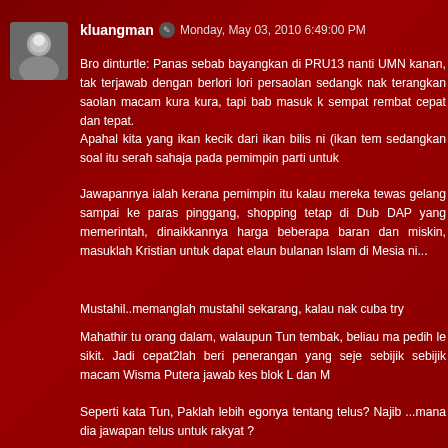kluangman  Monday, May 03, 2010 6:49:00 PM
Bro dinturtle: Panas sebab bayangkan di PRU13 nanti UMN kanan, tak terjawab dengan berlori lori persaolan sedangk nak terangkan saolan macam kura kura, tapi bab masuk k sempat rembat cepat dan tepat.
Apahal kita yang ikan kecik dari ikan bilis ni (ikan tem sedangkan soal itu serah sahaja pada pemimpin parti untuk
Jawapannya ialah kerana pemimpin itu kalau mereka tewas gelang sampai ke paras pinggang, shopping tetap di Dub DAP yang memerintah, dinaikkannya harga beberapa baran dan miskin, masuklah Kristian untuk dapat elaun bulanan Islam di Mesia ni...
Mustahil..memanglah mustahil sekarang, kalau nak cuba try
Mahathir tu orang dalam, walaupun Tun tembak, beliau ma pedih le sikit. Jadi cepat2lah beri penerangan yang seje sebijik sebijik macam Wisma Putera jawab kes blok L dan M
Seperti kata Tun, Paklah lebih egonya tentang telus? Najib ...mana dia jawapan telus untuk rakyat ?